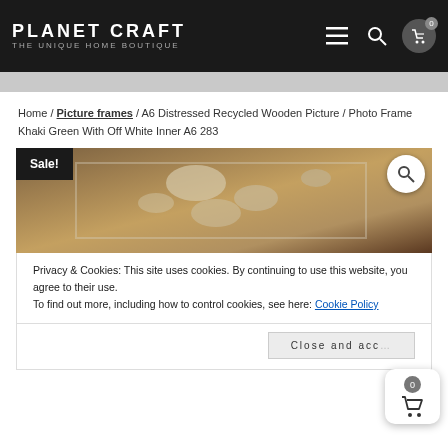PLANET CRAFT THE UNIQUE HOME BOUTIQUE
Home / Picture frames / A6 Distressed Recycled Wooden Picture / Photo Frame Khaki Green With Off White Inner A6 283
[Figure (photo): Product photo of a distressed recycled wooden picture frame with khaki green and off-white coloring, showing peeling paint texture]
Privacy & Cookies: This site uses cookies. By continuing to use this website, you agree to their use.
To find out more, including how to control cookies, see here: Cookie Policy
Close and accept